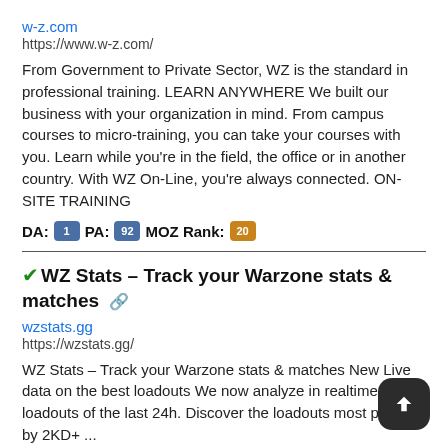w-z.com
https://www.w-z.com/
From Government to Private Sector, WZ is the standard in professional training. LEARN ANYWHERE We built our business with your organization in mind. From campus courses to micro-training, you can take your courses with you. Learn while you're in the field, the office or in another country. With WZ On-Line, you're always connected. ON-SITE TRAINING
DA: 1 PA: 92 MOZ Rank: 20
WZ Stats – Track your Warzone stats & matches
wzstats.gg
https://wzstats.gg/
WZ Stats – Track your Warzone stats & matches New Live data on the best loadouts We now analyze in realtime the loadouts of the last 24h. Discover the loadouts most picked by 2KD+ ...
DA: 59 PA: 14 MOZ Rank: 32